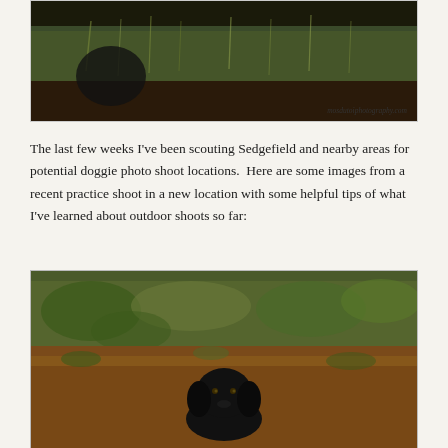[Figure (photo): Outdoor nature photo showing dark background with grasses and vegetation, black dog partially visible. Watermark reads mosdutoiphotography.com]
The last few weeks I've been scouting Sedgefield and nearby areas for potential doggie photo shoot locations.  Here are some images from a recent practice shoot in a new location with some helpful tips of what I've learned about outdoor shoots so far:
[Figure (photo): Outdoor photo of a black Labrador dog sitting and facing camera in a natural setting with reddish-brown ground and green vegetation in the background.]